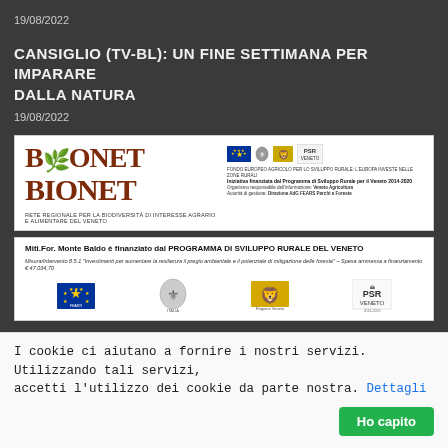19/08/2022
CANSIGLIO (TV-BL): UN FINE SETTIMANA PER IMPARARE DALLA NATURA
19/08/2022
[Figure (logo): BIONET logo banner with EU funding logos - Rete Regionale per la Biodiversità di Interesse Agrario e Alimentare del Veneto]
[Figure (infographic): Miti.For. Monte Baldo banner - finanziato dal PROGRAMMA DI SVILUPPO RURALE DEL VENETO with EU and regional logos]
I cookie ci aiutano a fornire i nostri servizi. Utilizzando tali servizi, accetti l'utilizzo dei cookie da parte nostra. Dettagli